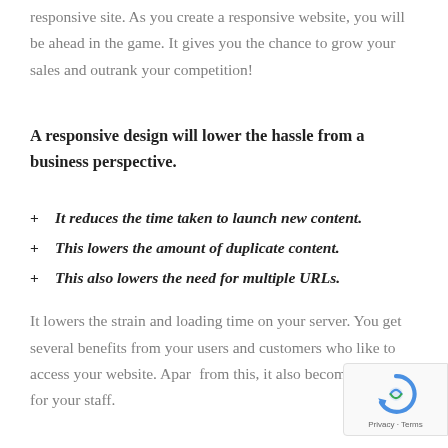responsive site. As you create a responsive website, you will be ahead in the game. It gives you the chance to grow your sales and outrank your competition!
A responsive design will lower the hassle from a business perspective.
It reduces the time taken to launch new content.
This lowers the amount of duplicate content.
This also lowers the need for multiple URLs.
It lowers the strain and loading time on your server. You get several benefits from your users and customers who like to access your website. Apart from this, it also becomes easier for your staff.